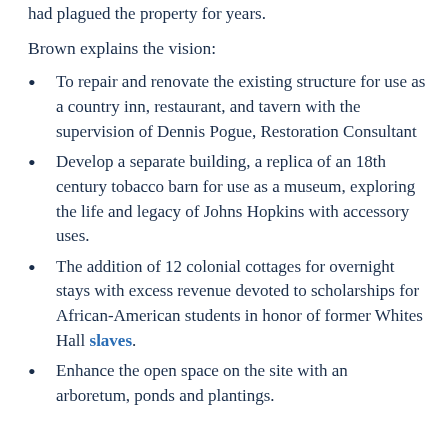had plagued the property for years.
Brown explains the vision:
To repair and renovate the existing structure for use as a country inn, restaurant, and tavern with the supervision of Dennis Pogue, Restoration Consultant
Develop a separate building, a replica of an 18th century tobacco barn for use as a museum, exploring the life and legacy of Johns Hopkins with accessory uses.
The addition of 12 colonial cottages for overnight stays with excess revenue devoted to scholarships for African-American students in honor of former Whites Hall slaves.
Enhance the open space on the site with an arboretum, ponds and plantings.